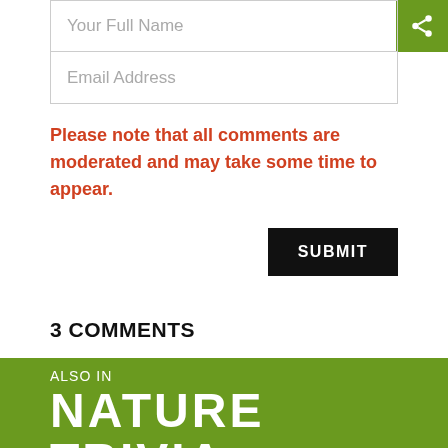Your Full Name
Email Address
Please note that all comments are moderated and may take some time to appear.
SUBMIT
3 COMMENTS
READ COMMENTS
ALSO IN
NATURE TRIVIA